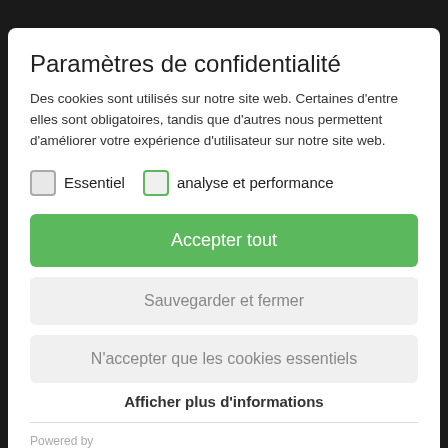Paramètres de confidentialité
Des cookies sont utilisés sur notre site web. Certaines d'entre elles sont obligatoires, tandis que d'autres nous permettent d'améliorer votre expérience d'utilisateur sur notre site web.
Essentiel
analyse et performance
Accepter tout
Sauvegarder et fermer
N'accepter que les cookies essentiels
Afficher plus d'informations
Powered by
sgalinski Cookie Opt In
Site Notice | Privacy Policy